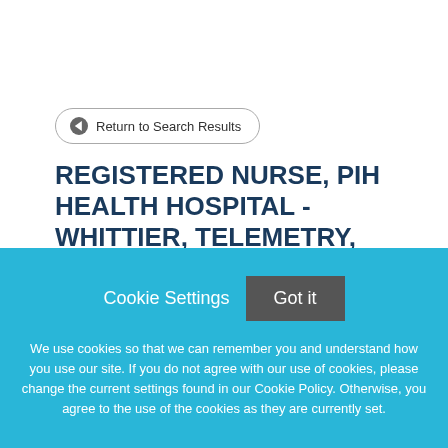Return to Search Results
REGISTERED NURSE, PIH HEALTH HOSPITAL - WHITTIER, TELEMETRY, Full time, 7pm-7am
Cookie Settings
Got it
We use cookies so that we can remember you and understand how you use our site. If you do not agree with our use of cookies, please change the current settings found in our Cookie Policy. Otherwise, you agree to the use of the cookies as they are currently set.